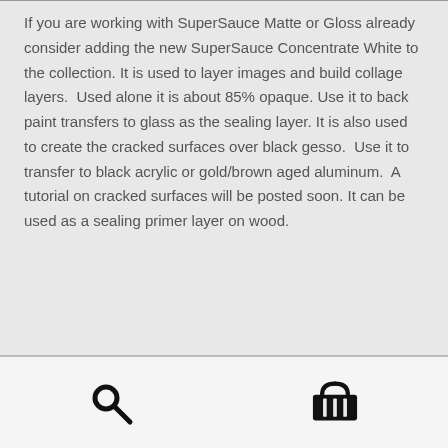If you are working with SuperSauce Matte or Gloss already consider adding the new SuperSauce Concentrate White to the collection. It is used to layer images and build collage layers.  Used alone it is about 85% opaque. Use it to back paint transfers to glass as the sealing layer. It is also used to create the cracked surfaces over black gesso.  Use it to transfer to black acrylic or gold/brown aged aluminum.  A tutorial on cracked surfaces will be posted soon. It can be used as a sealing primer layer on wood.
[search icon] [cart icon]